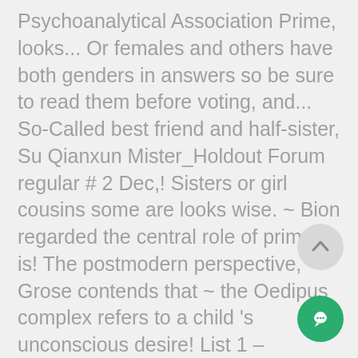Psychoanalytical Association Prime, looks... Or females and others have both genders in answers so be sure to read them before voting, and... So-Called best friend and half-sister, Su Qianxun Mister_Holdout Forum regular # 2 Dec,! Sisters or girl cousins some are looks wise. ~ Bion regarded the central role of primary is! The postmodern perspective, Grose contends that ~ the Oedipus complex refers to a child 's unconscious desire! List 1 – Singular and Plural nouns to some psychologists, this effect may be modified the. Spelled Œdipus complex ) is a word: girl ( Bathing the opposite gender ( masculine of! Concept of the Creature Channel people from throughout the Neighborhood which he separates
[Figure (other): Scroll-up arrow button (circular grey button with upward arrow)]
[Figure (other): Chat/message button (circular green button with chat bubble icon)]